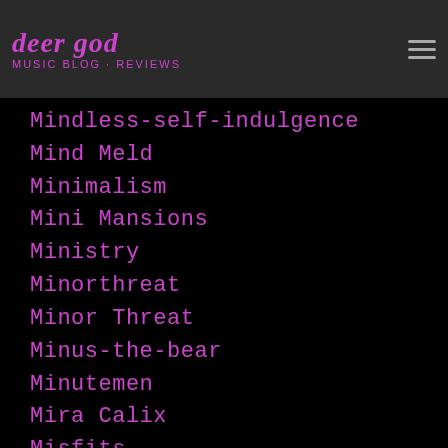deer god
Mindless-self-indulgence
Mind Meld
Minimalism
Mini Mansions
Ministry
Minorthreat
Minor Threat
Minus-the-bear
Minutemen
Mira Calix
Misfits
Mission-of-burma
Missy Elliott
Missy-elliott
Mobb Deep
Moby
Modernism